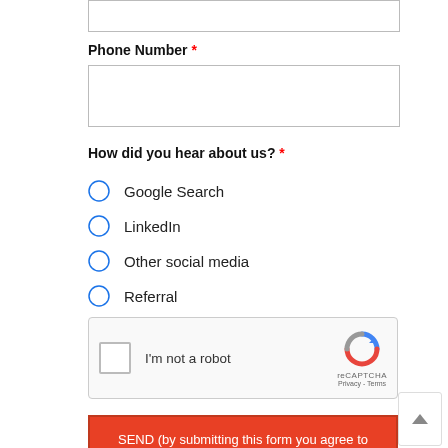[Figure (screenshot): Partial top input field (top of page, cropped)]
Phone Number *
[Figure (screenshot): Phone Number input text field (empty)]
How did you hear about us? *
Google Search
LinkedIn
Other social media
Referral
[Figure (screenshot): reCAPTCHA widget with checkbox labeled 'I'm not a robot', reCAPTCHA logo, Privacy and Terms links]
SEND (by submitting this form you agree to receive emails from us about your inquiry)